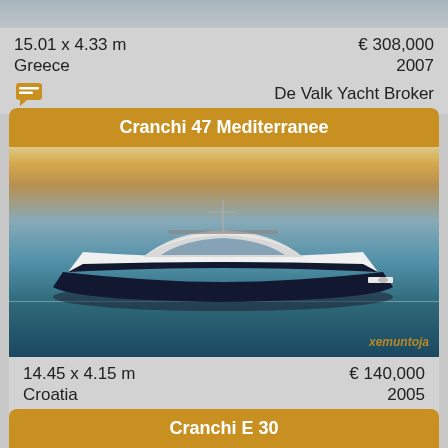15.01 x 4.33 m
€ 308,000
Greece
2007
De Valk Yacht Broker
Cranchi 47 Mediterranee
[Figure (photo): Cranchi 47 Mediterranee motorboat on calm water at dusk, white hull with dark stripe, Croatia]
14.45 x 4.15 m
€ 140,000
Croatia
2005
munitor d.o.o.
Cranchi E 30